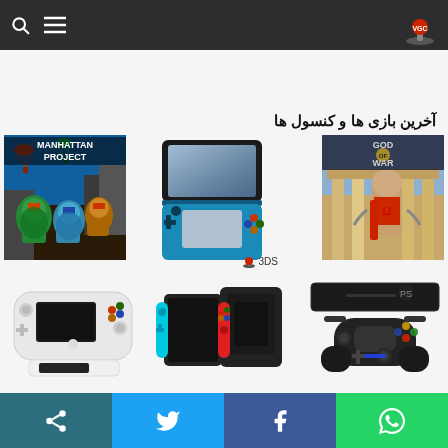VGC website header with search icon, menu icon, and VGC logo
آخرین بازی ها و کنسول ها
[Figure (photo): TMNT Manhattan Project game cover art]
[Figure (photo): Nintendo 3DS handheld console in teal/blue color, open, with 3DS logo below]
[Figure (photo): God of War game cover art]
[Figure (photo): Wii U console with gamepad controller]
[Figure (photo): Nintendo Switch console with dock and Joy-Con controllers]
[Figure (photo): PlayStation 4 Slim console with DualShock 4 controller]
Social share bar: share, Twitter, Facebook, WhatsApp